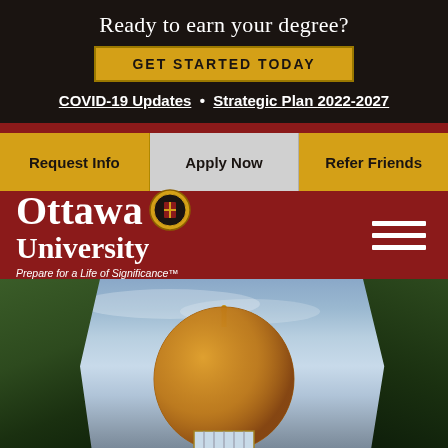Ready to earn your degree?
GET STARTED TODAY
COVID-19 Updates • Strategic Plan 2022-2027
Request Info | Apply Now | Refer Friends
[Figure (logo): Ottawa University logo with seal and tagline 'Prepare for a Life of Significance']
[Figure (photo): Campus photo showing a golden domed building cupola against a cloudy sky, with trees on both sides]